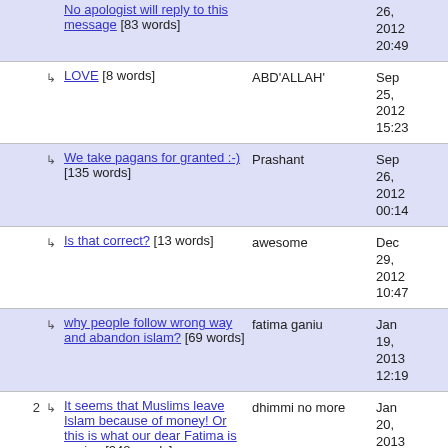No apologist will reply to this message [83 words] — Sep 26, 2012 20:49
↳ LOVE [8 words] — ABD'ALLAH' — Sep 25, 2012 15:23
↳ We take pagans for granted :-) [135 words] — Prashant — Sep 26, 2012 00:14
↳ Is that correct? [13 words] — awesome — Dec 29, 2012 10:47
↳ why people follow wrong way and abandon islam? [69 words] — fatima ganiu — Jan 19, 2013 12:19
2 ↳ It seems that Muslims leave Islam because of money! Or this is what our dear Fatima is saying [248 words] — dhimmi no more — Jan 20, 2013 08:43
↳ fatima in uk [39 words] — roger spleen — Jan 21, 2013